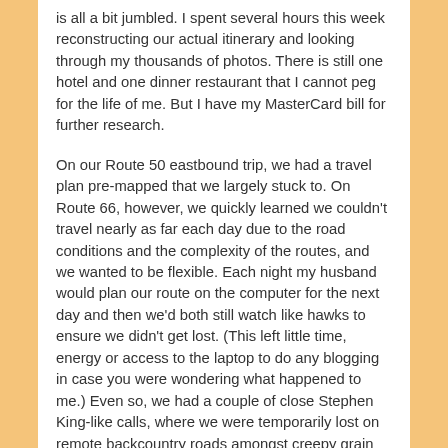is all a bit jumbled. I spent several hours this week reconstructing our actual itinerary and looking through my thousands of photos. There is still one hotel and one dinner restaurant that I cannot peg for the life of me. But I have my MasterCard bill for further research.
On our Route 50 eastbound trip, we had a travel plan pre-mapped that we largely stuck to. On Route 66, however, we quickly learned we couldn't travel nearly as far each day due to the road conditions and the complexity of the routes, and we wanted to be flexible. Each night my husband would plan our route on the computer for the next day and then we'd both still watch like hawks to ensure we didn't get lost. (This left little time, energy or access to the laptop to do any blogging in case you were wondering what happened to me.) Even so, we had a couple of close Stephen King-like calls, where we were temporarily lost on remote backcountry roads amongst creepy grain fields, expecting children with pitch forks to emerge and corner us.